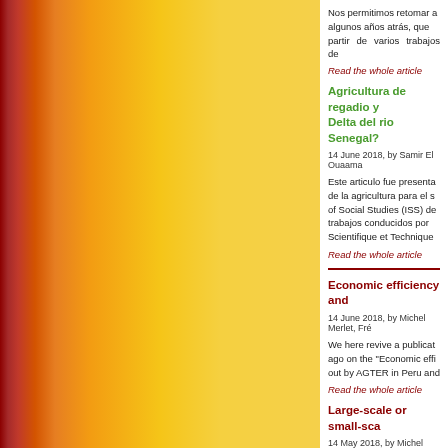Nos permitimos retomar a algunos años atrás, que partir de varios trabajos de
Read the whole article
Agricultura de regadio y Delta del rio Senegal?
14 June 2018, by Samir El Ouaama
Este articulo fue presenta de la agricultura para el s of Social Studies (ISS) de trabajos conducidos por Scientifique et Technique
Read the whole article
Economic efficiency and
14 June 2018, by Michel Merlet, Fré
We here revive a publicat ago on the "Economic effi out by AGTER in Peru and
Read the whole article
Large-scale or small-sca
14 May 2018, by Michel Merlet
In "The Agrarian Questio